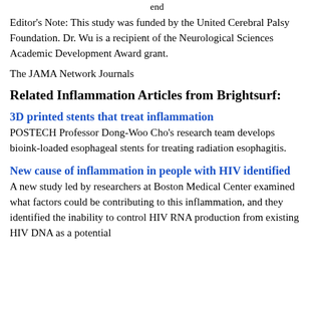end
Editor's Note: This study was funded by the United Cerebral Palsy Foundation. Dr. Wu is a recipient of the Neurological Sciences Academic Development Award grant.
The JAMA Network Journals
Related Inflammation Articles from Brightsurf:
3D printed stents that treat inflammation
POSTECH Professor Dong-Woo Cho's research team develops bioink-loaded esophageal stents for treating radiation esophagitis.
New cause of inflammation in people with HIV identified
A new study led by researchers at Boston Medical Center examined what factors could be contributing to this inflammation, and they identified the inability to control HIV RNA production from existing HIV DNA as a potential